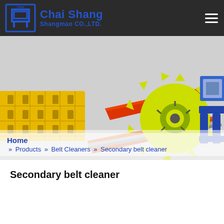[Figure (logo): Chai Shang Shangmao CO.,LTD. company logo with Chinese character in blue square frame on dark header bar]
[Figure (photo): Hero banner showing industrial conveyor belt cleaner products: yellow mesh panel, orange belt cleaner blades, yellow gear/sprocket, blue mechanical device on grey background]
Home
» Products » Belt Cleaners » Secondary belt cleaner
Secondary belt cleaner